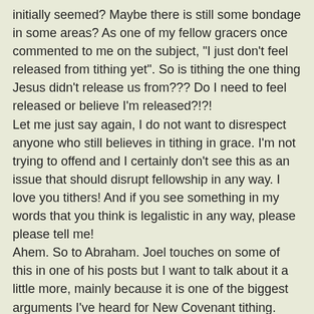initially seemed? Maybe there is still some bondage in some areas? As one of my fellow gracers once commented to me on the subject, "I just don't feel released from tithing yet". So is tithing the one thing Jesus didn't release us from??? Do I need to feel released or believe I'm released?!?!
Let me just say again, I do not want to disrespect anyone who still believes in tithing in grace. I'm not trying to offend and I certainly don't see this as an issue that should disrupt fellowship in any way. I love you tithers! And if you see something in my words that you think is legalistic in any way, please please tell me!
Ahem. So to Abraham. Joel touches on some of this in one of his posts but I want to talk about it a little more, mainly because it is one of the biggest arguments I've heard for New Covenant tithing. When I was first coming into grace, I was having a horrible time because financially it became impossible to tithe. Aaron never bothered much about that stuff, but I had a running tally in my head at all times of how much money we owed God and eventually it got to the point where I realized we would never be able to pay him back.